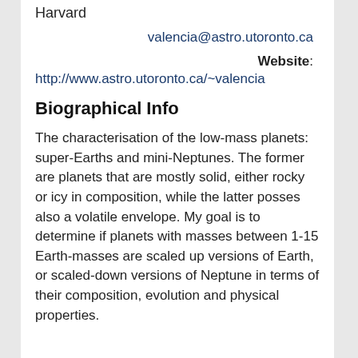Harvard
valencia@astro.utoronto.ca
Website: http://www.astro.utoronto.ca/~valencia
Biographical Info
The characterisation of the low-mass planets: super-Earths and mini-Neptunes. The former are planets that are mostly solid, either rocky or icy in composition, while the latter posses also a volatile envelope. My goal is to determine if planets with masses between 1-15 Earth-masses are scaled up versions of Earth, or scaled-down versions of Neptune in terms of their composition, evolution and physical properties.